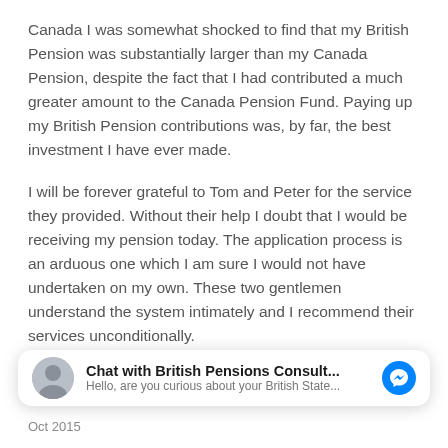Canada I was somewhat shocked to find that my British Pension was substantially larger than my Canada Pension, despite the fact that I had contributed a much greater amount to the Canada Pension Fund. Paying up my British Pension contributions was, by far, the best investment I have ever made.
I will be forever grateful to Tom and Peter for the service they provided. Without their help I doubt that I would be receiving my pension today. The application process is an arduous one which I am sure I would not have undertaken on my own. These two gentlemen understand the system intimately and I recommend their services unconditionally.
[Figure (screenshot): Facebook Messenger chat widget showing 'Chat with British Pensions Consult...' with avatar photo and message 'Hello, are you curious about your British State...']
Oct 2015